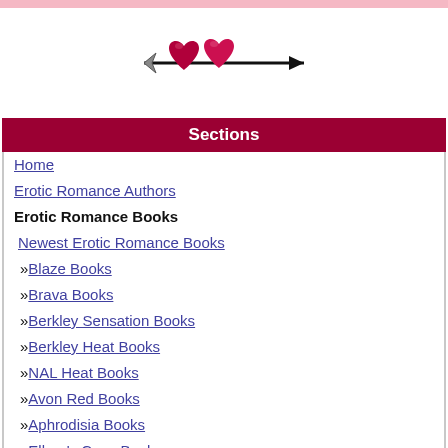[Figure (illustration): Two red/pink hearts pierced by a black arrow, resembling a valentine's logo]
Sections
Home
Erotic Romance Authors
Erotic Romance Books
Newest Erotic Romance Books
»Blaze Books
»Brava Books
»Berkley Sensation Books
»Berkley Heat Books
»NAL Heat Books
»Avon Red Books
»Aphrodisia Books
»Ellora's Cave Books
»Secrets Anthologies